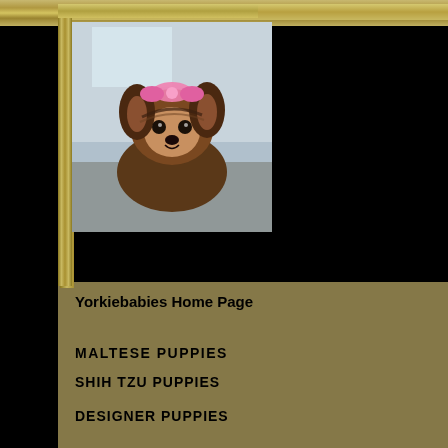[Figure (photo): Yorkie dog with pink bow on head, photographed looking up at camera, inside decorative gold frame border]
Yorkiebabies Home Page
MALTESE PUPPIES
SHIH TZU PUPPIES
DESIGNER PUPPIES
954-32...
Yorkiebabies.com  Elegant